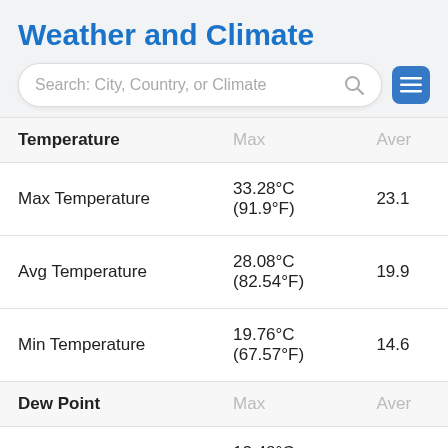Weather and Climate
| Temperature | Max | Ave |
| --- | --- | --- |
| Max Temperature | 33.28°C (91.9°F) | 23.1 |
| Avg Temperature | 28.08°C (82.54°F) | 19.9 |
| Min Temperature | 19.76°C (67.57°F) | 14.6 |
| Dew Point (section) | Max | Aver |
| Dew Point | 12.48°C (54.46°F) | 7.45 |
| Precipitation (section) | Max |  |
| Precipitation | 43.89mm | 1.73in | 5.87 |